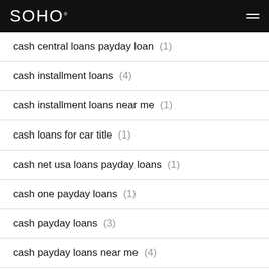SOHO
cash central loans payday loan (1)
cash installment loans (4)
cash installment loans near me (1)
cash loans for car title (1)
cash net usa loans payday loans (1)
cash one payday loans (1)
cash payday loans (3)
cash payday loans near me (4)